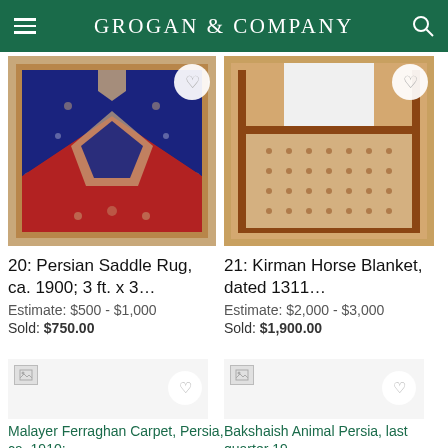GROGAN & COMPANY
[Figure (photo): Persian Saddle Rug, antique, ca. 1900, dark blue center with geometric patterns, red corners, decorative border]
20: Persian Saddle Rug, ca. 1900; 3 ft. x 3…
Estimate: $500 - $1,000
Sold: $750.00
[Figure (photo): Kirman Horse Blanket, dated 1311, U-shaped cutout at top, tan/brown allover pattern with decorative border]
21: Kirman Horse Blanket, dated 1311…
Estimate: $2,000 - $3,000
Sold: $1,900.00
[Figure (photo): Malayer Ferraghan Carpet, Persia, ca. 1910 - loading image placeholder]
Malayer Ferraghan Carpet, Persia, ca. 1910;
[Figure (photo): Bakshaish Animal Persia, last quarter 19th century - loading image placeholder]
Bakshaish Animal Persia, last quarter 19…